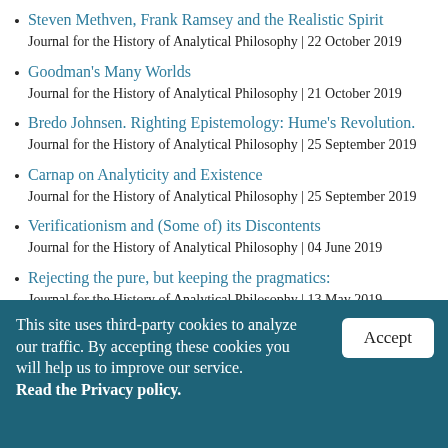Steven Methven, Frank Ramsey and the Realistic Spirit
Journal for the History of Analytical Philosophy | 22 October 2019
Goodman's Many Worlds
Journal for the History of Analytical Philosophy | 21 October 2019
Bredo Johnsen. Righting Epistemology: Hume's Revolution.
Journal for the History of Analytical Philosophy | 25 September 2019
Carnap on Analyticity and Existence
Journal for the History of Analytical Philosophy | 25 September 2019
Verificationism and (Some of) its Discontents
Journal for the History of Analytical Philosophy | 04 June 2019
Rejecting the pure, but keeping the pragmatics:
Journal for the History of Analytical Philosophy | 13 May 2019
This site uses third-party cookies to analyze our traffic. By accepting these cookies you will help us to improve our service. Read the Privacy policy.